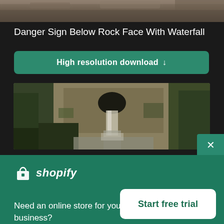[Figure (photo): Top strip of rock face image, cropped]
Danger Sign Below Rock Face With Waterfall
High resolution download ↓
[Figure (photo): Rock face with waterfall flowing through an arch/tunnel in a lush green forest setting]
[Figure (logo): Shopify logo with shopping bag icon and italic shopify text]
Need an online store for your business?
Start free trial